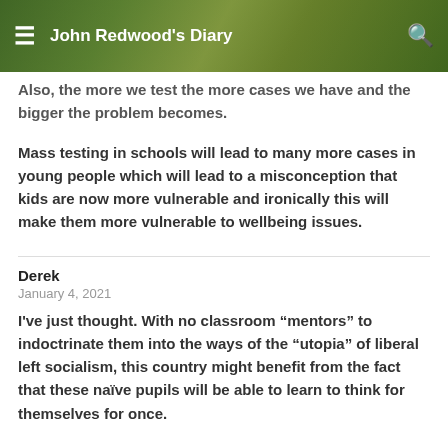John Redwood's Diary
Also, the more we test the more cases we have and the bigger the problem becomes.
Mass testing in schools will lead to many more cases in young people which will lead to a misconception that kids are now more vulnerable and ironically this will make them more vulnerable to wellbeing issues.
Derek
January 4, 2021
I've just thought. With no classroom “mentors” to indoctrinate them into the ways of the “utopia” of liberal left socialism, this country might benefit from the fact that these naïve pupils will be able to learn to think for themselves for once.